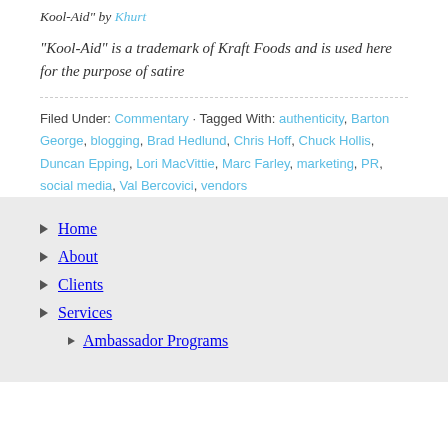Kool-Aid" by Khurt
"Kool-Aid" is a trademark of Kraft Foods and is used here for the purpose of satire
Filed Under: Commentary · Tagged With: authenticity, Barton George, blogging, Brad Hedlund, Chris Hoff, Chuck Hollis, Duncan Epping, Lori MacVittie, Marc Farley, marketing, PR, social media, Val Bercovici, vendors
Home
About
Clients
Services
Ambassador Programs